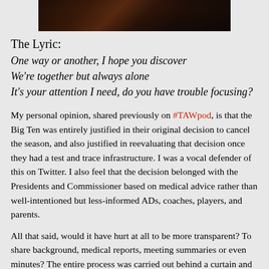[Figure (photo): A dark television still image showing people, cropped at top of page]
The Lyric:
One way or another, I hope you discover
We're together but always alone
It's your attention I need, do you have trouble focusing?
My personal opinion, shared previously on #TAWpod, is that the Big Ten was entirely justified in their original decision to cancel the season, and also justified in reevaluating that decision once they had a test and trace infrastructure. I was a vocal defender of this on Twitter. I also feel that the decision belonged with the Presidents and Commissioner based on medical advice rather than well-intentioned but less-informed ADs, coaches, players, and parents.
All that said, would it have hurt at all to be more transparent? To share background, medical reports, meeting summaries or even minutes? The entire process was carried out behind a curtain and developed a decidedly smoke-filled-room feel that only fueled further speculation. Was Kevin Warren obligated to share more? No, but that was his choice and his secrecy did not help his PR; it